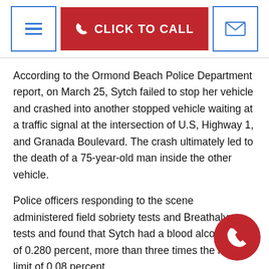CLICK TO CALL
According to the Ormond Beach Police Department report, on March 25, Sytch failed to stop her vehicle and crashed into another stopped vehicle waiting at a traffic signal at the intersection of U.S, Highway 1, and Granada Boulevard. The crash ultimately led to the death of a 75-year-old man inside the other vehicle.
Police officers responding to the scene administered field sobriety tests and Breathalyzer tests and found that Sytch had a blood alcohol level of 0.280 percent, more than three times the legal limit of 0.08 percent.